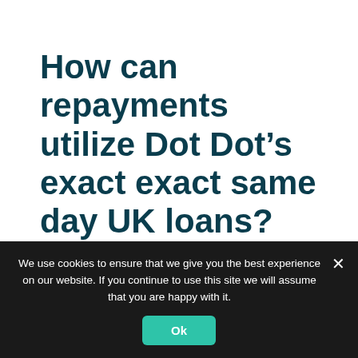How can repayments utilize Dot Dot’s exact exact same day UK loans?
You can easily distribute the price of our day that is
We use cookies to ensure that we give you the best experience on our website. If you continue to use this site we will assume that you are happy with it.